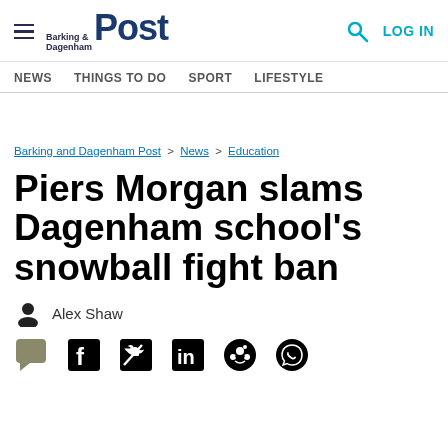Barking & Dagenham Post — LOG IN
NEWS   THINGS TO DO   SPORT   LIFESTYLE
Barking and Dagenham Post > News > Education
Piers Morgan slams Dagenham school's snowball fight ban
Alex Shaw
[Figure (infographic): Social sharing icons: comment bubble, Facebook, Twitter, LinkedIn, Reddit, WhatsApp]